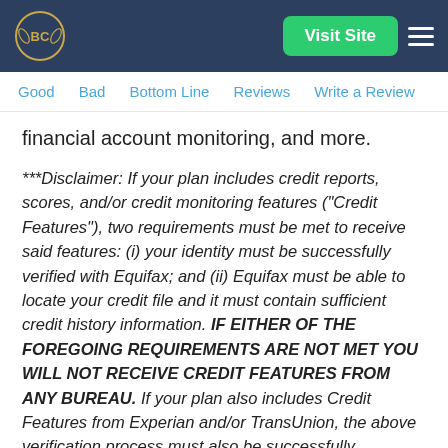BC | Visit Site
Good   Bad   Bottom Line   Reviews   Write a Review
financial account monitoring, and more.
***Disclaimer: If your plan includes credit reports, scores, and/or credit monitoring features ("Credit Features"), two requirements must be met to receive said features: (i) your identity must be successfully verified with Equifax; and (ii) Equifax must be able to locate your credit file and it must contain sufficient credit history information. IF EITHER OF THE FOREGOING REQUIREMENTS ARE NOT MET YOU WILL NOT RECEIVE CREDIT FEATURES FROM ANY BUREAU. If your plan also includes Credit Features from Experian and/or TransUnion, the above verification process must also be successfully completed with Experian and/or